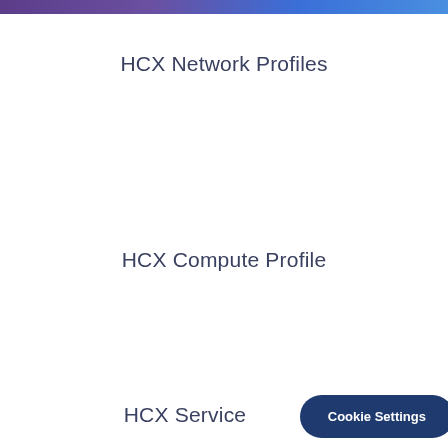HCX Network Profiles
HCX Compute Profile
HCX Service
Cookie Settings